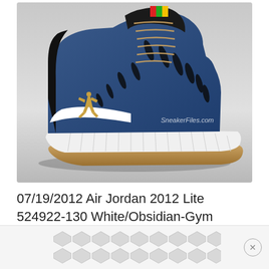[Figure (photo): Air Jordan 2012 Lite sneaker in navy blue/obsidian with gold Jumpman logo, white midsole, and gum outsole. SneakerFiles.com watermark visible. Background is light grey gradient.]
07/19/2012 Air Jordan 2012 Lite 524922-130 White/Obsidian-Gym Red $150
[Figure (other): Advertisement banner with grey hexagonal/diamond pattern tiles and a circular X close button on the right.]